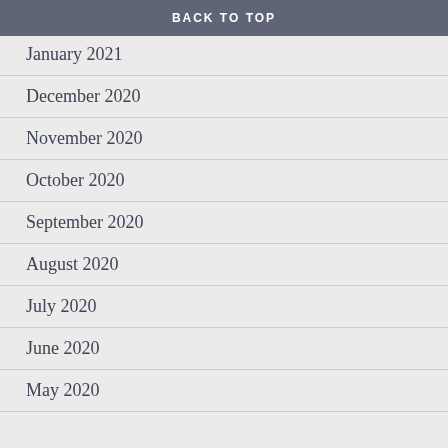BACK TO TOP
January 2021
December 2020
November 2020
October 2020
September 2020
August 2020
July 2020
June 2020
May 2020